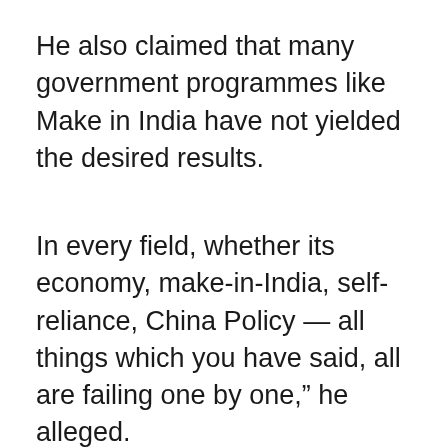He also claimed that many government programmes like Make in India have not yielded the desired results.
In every field, whether its economy, make-in-India, self-reliance, China Policy — all things which you have said, all are failing one by one,” he alleged.
ADVERTISEMENT